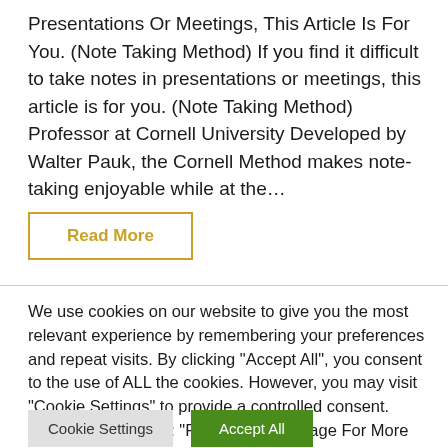Presentations Or Meetings, This Article Is For You. (Note Taking Method) If you find it difficult to take notes in presentations or meetings, this article is for you. (Note Taking Method) Professor at Cornell University Developed by Walter Pauk, the Cornell Method makes note-taking enjoyable while at the...
Read More
We use cookies on our website to give you the most relevant experience by remembering your preferences and repeat visits. By clicking "Accept All", you consent to the use of ALL the cookies. However, you may visit "Cookie Settings" to provide a controlled consent. Please Also Check : "Privacy Policy" Page For More Details
Cookie Settings
Accept All